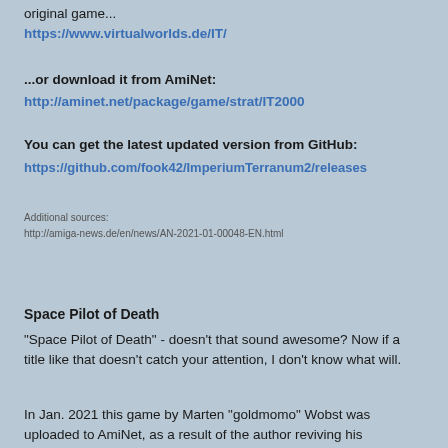original game...
https://www.virtualworlds.de/IT/
...or download it from AmiNet:
http://aminet.net/package/game/strat/IT2000
You can get the latest updated version from GitHub:
https://github.com/fook42/ImperiumTerranum2/releases
Additional sources:
http://amiga-news.de/en/news/AN-2021-01-00048-EN.html
Space Pilot of Death
"Space Pilot of Death" - doesn't that sound awesome? Now if a title like that doesn't catch your attention, I don't know what will.
In Jan. 2021 this game by Marten "goldmomo" Wobst was uploaded to AmiNet, as a result of the author reviving his